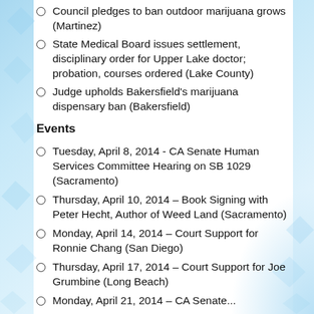Council pledges to ban outdoor marijuana grows (Martinez)
State Medical Board issues settlement, disciplinary order for Upper Lake doctor; probation, courses ordered (Lake County)
Judge upholds Bakersfield's marijuana dispensary ban (Bakersfield)
Events
Tuesday, April 8, 2014 - CA Senate Human Services Committee Hearing on SB 1029 (Sacramento)
Thursday, April 10, 2014 – Book Signing with Peter Hecht, Author of Weed Land (Sacramento)
Monday, April 14, 2014 – Court Support for Ronnie Chang (San Diego)
Thursday, April 17, 2014 – Court Support for Joe Grumbine (Long Beach)
Monday, April 21, 2014 – CA Senate...